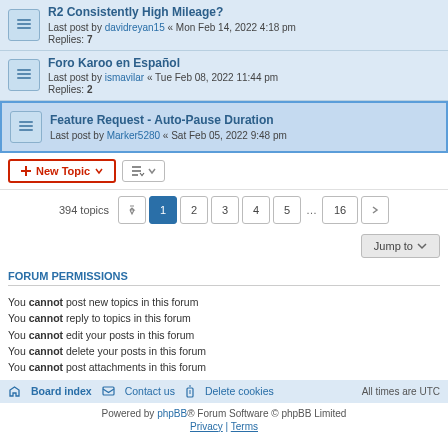R2 Consistently High Mileage? — Last post by davidreyan15 « Mon Feb 14, 2022 4:18 pm — Replies: 7
Foro Karoo en Español — Last post by ismavilar « Tue Feb 08, 2022 11:44 pm — Replies: 2
Feature Request - Auto-Pause Duration — Last post by Marker5280 « Sat Feb 05, 2022 9:48 pm
New Topic  [sort button]  394 topics  1 2 3 4 5 ... 16 [next]
Jump to
FORUM PERMISSIONS
You cannot post new topics in this forum
You cannot reply to topics in this forum
You cannot edit your posts in this forum
You cannot delete your posts in this forum
You cannot post attachments in this forum
Board index  Contact us  Delete cookies  All times are UTC
Powered by phpBB® Forum Software © phpBB Limited
Privacy | Terms